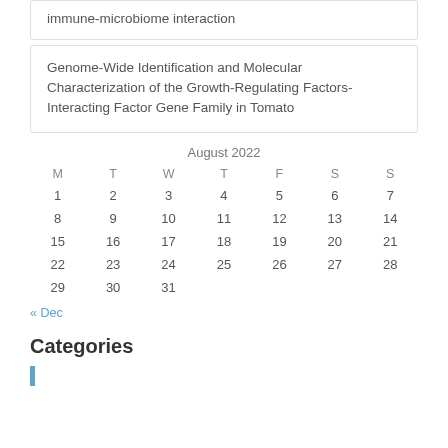immune-microbiome interaction
Genome-Wide Identification and Molecular Characterization of the Growth-Regulating Factors-Interacting Factor Gene Family in Tomato
| M | T | W | T | F | S | S |
| --- | --- | --- | --- | --- | --- | --- |
| 1 | 2 | 3 | 4 | 5 | 6 | 7 |
| 8 | 9 | 10 | 11 | 12 | 13 | 14 |
| 15 | 16 | 17 | 18 | 19 | 20 | 21 |
| 22 | 23 | 24 | 25 | 26 | 27 | 28 |
| 29 | 30 | 31 |  |  |  |  |
« Dec
Categories